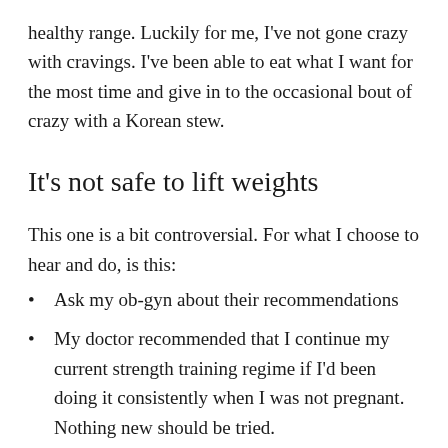healthy range. Luckily for me, I've not gone crazy with cravings. I've been able to eat what I want for the most time and give in to the occasional bout of crazy with a Korean stew.
It's not safe to lift weights
This one is a bit controversial. For what I choose to hear and do, is this:
Ask my ob-gyn about their recommendations
My doctor recommended that I continue my current strength training regime if I'd been doing it consistently when I was not pregnant. Nothing new should be tried.